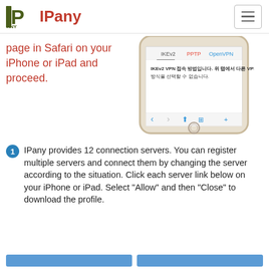IPany
page in Safari on your iPhone or iPad and proceed.
[Figure (screenshot): iPhone screenshot showing IPany VPN app with tabs IKEv2, PPTP, OpenVPN and Korean text about IKEv2 VPN connection]
1 IPany provides 12 connection servers. You can register multiple servers and connect them by changing the server according to the situation. Click each server link below on your iPhone or iPad. Select "Allow" and then "Close" to download the profile.